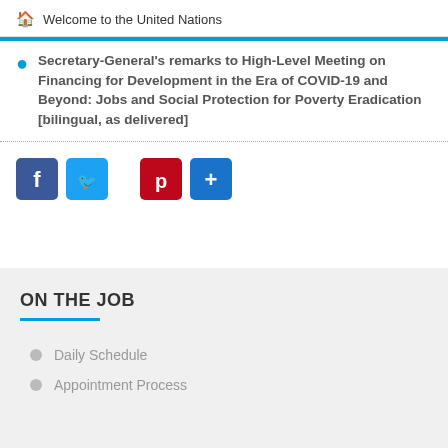Welcome to the United Nations
Secretary-General's remarks to High-Level Meeting on Financing for Development in the Era of COVID-19 and Beyond: Jobs and Social Protection for Poverty Eradication [bilingual, as delivered]
[Figure (other): Social media sharing buttons: Facebook, Twitter, Pinterest, Share]
ON THE JOB
Daily Schedule
Appointment Process